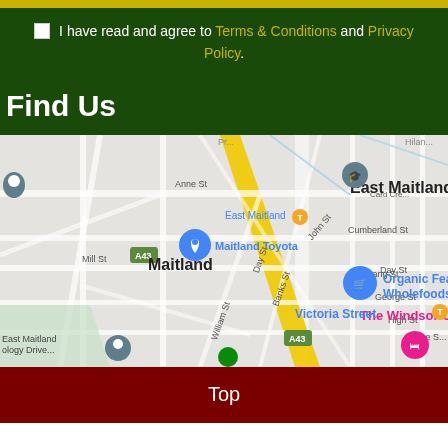I have read and agree to Terms & Conditions and Privacy Policy.
Find Us
[Figure (map): Google Maps view of East Maitland area showing Maitland Toyota, Organic Feast Wholefoods Market, The Windsor Castle, Victoria Street, and surrounding streets including Anne St, John St, Cumberland St, Banks St, William St, King St, Day St, Narang St, George St, High St, Pierce St. Roads A43 marked. Area labels: East Maitland, Maitland, East Maitland Geology Drive.]
Top